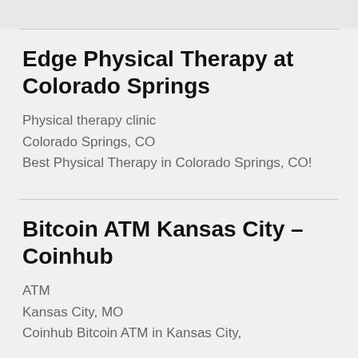Edge Physical Therapy at Colorado Springs
Physical therapy clinic
Colorado Springs, CO
Best Physical Therapy in Colorado Springs, CO!
Bitcoin ATM Kansas City – Coinhub
ATM
Kansas City, MO
Coinhub Bitcoin ATM in Kansas City,